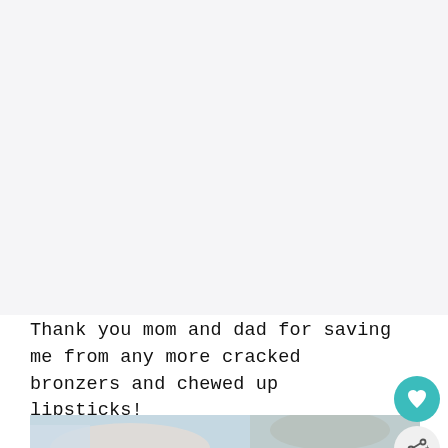[Figure (photo): Large white/light gray blank area at top of page, representing a cropped or missing image]
Thank you mom and dad for saving me from any more cracked bronzers and chewed up lipsticks!
[Figure (photo): Bottom portion of a photo showing a baby or young child from behind, wearing a blue headband with a bow, against a stone/wood background]